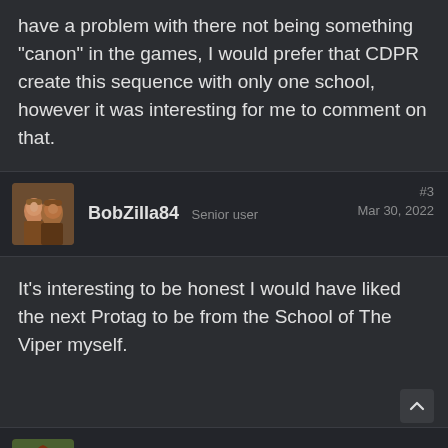have a problem with there not being something "canon" in the games, I would prefer that CDPR create this sequence with only one school, however it was interesting for me to comment on that.
BobZilla84 Senior user #3 Mar 30, 2022
It's interesting to be honest I would have liked the next Protag to be from the School of The Viper myself.
FCK_TED_FARO Forum regular #4 May 29, 2022